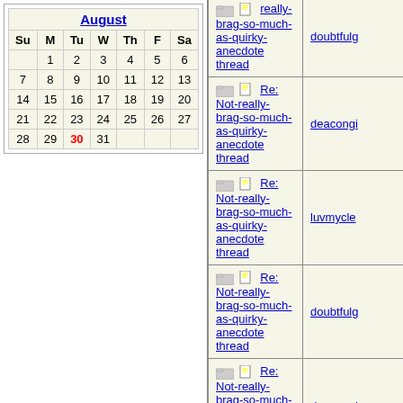| Su | M | Tu | W | Th | F | Sa |
| --- | --- | --- | --- | --- | --- | --- |
|  | 1 | 2 | 3 | 4 | 5 | 6 |
| 7 | 8 | 9 | 10 | 11 | 12 | 13 |
| 14 | 15 | 16 | 17 | 18 | 19 | 20 |
| 21 | 22 | 23 | 24 | 25 | 26 | 27 |
| 28 | 29 | 30 | 31 |  |  |  |
| Thread | User |
| --- | --- |
| Re: Not-really-brag-so-much-as-quirky-anecdote thread | doubtfulg |
| Re: Not-really-brag-so-much-as-quirky-anecdote thread | deacongi |
| Re: Not-really-brag-so-much-as-quirky-anecdote thread | luvmycle |
| Re: Not-really-brag-so-much-as-quirky-anecdote thread | doubtfulg |
| Re: Not-really-brag-so-much-as-quirky-anecdote thread | deacongi |
| Re: Not-really-brag-so-much-as-quirky-anecdote thread | doubtfulg |
| Re: Not-really-brag-so-much-as-quirky-anecdote thread | deacongi |